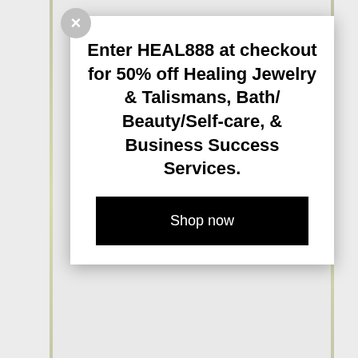[Figure (screenshot): E-commerce website screenshot showing a promotional modal popup overlay on a product page. The modal displays a discount code offer: 'Enter HEAL888 at checkout for 50% off Healing Jewelry & Talismans, Bath/ Beauty/Self-care, & Business Success Services.' with a 'Shop now' button. Background shows partial page text and decorative gold/green vertical lines on sides.]
Enter HEAL888 at checkout for 50% off Healing Jewelry & Talismans, Bath/ Beauty/Self-care, & Business Success Services.
Shop now